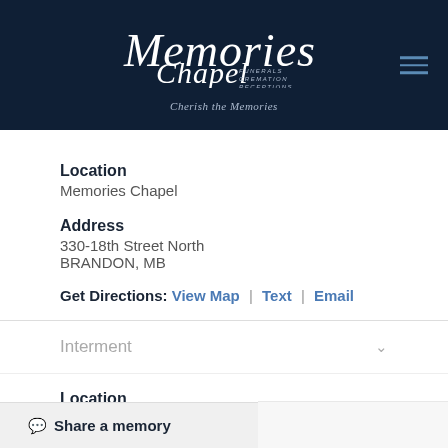[Figure (logo): Memories Chapel logo with script text and tagline 'Cherish the Memories' on dark navy background]
Location
Memories Chapel
Address
330-18th Street North
BRANDON, MB
Get Directions: View Map | Text | Email
Interment
Location
Brandon Cemetery
Share a memory